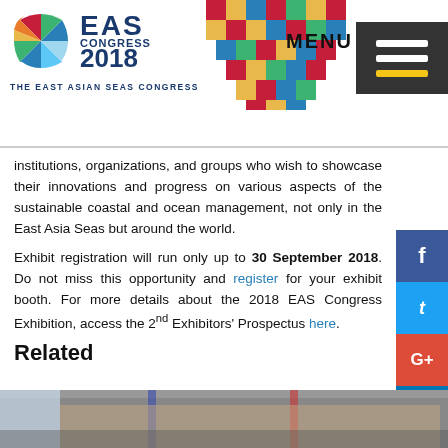[Figure (logo): EAS Congress 2018 logo with colorful fan/wave icon and text 'THE EAST ASIAN SEAS CONGRESS']
[Figure (illustration): MENU button with hamburger icon (dark background with three horizontal lines, bottom one yellow) and decorative mosaic pattern in top right corner]
institutions, organizations, and groups who wish to showcase their innovations and progress on various aspects of the sustainable coastal and ocean management, not only in the East Asia Seas but around the world.
Exhibit registration will run only up to 30 September 2018. Do not miss this opportunity and register for your exhibit booth. For more details about the 2018 EAS Congress Exhibition, access the 2nd Exhibitors' Prospectus here.
Related
[Figure (photo): Group photo of multiple people in formal/white attire standing in a row indoors with a Philippine flag visible in background]